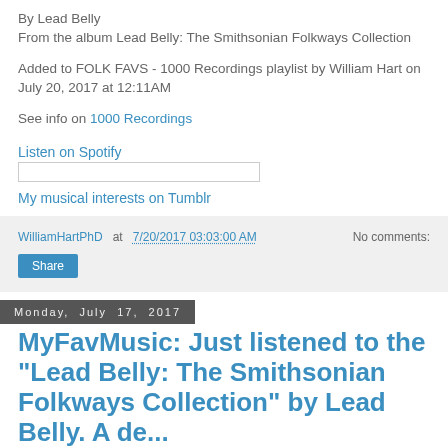By Lead Belly
From the album Lead Belly: The Smithsonian Folkways Collection
Added to FOLK FAVS - 1000 Recordings playlist by William Hart on July 20, 2017 at 12:11AM
See info on 1000 Recordings
Listen on Spotify
My musical interests on Tumblr
WilliamHartPhD at 7/20/2017 03:03:00 AM   No comments:
Share
Monday, July 17, 2017
MyFavMusic: Just listened to the "Lead Belly: The Smithsonian Folkways Collection" by Lead Belly. A de...